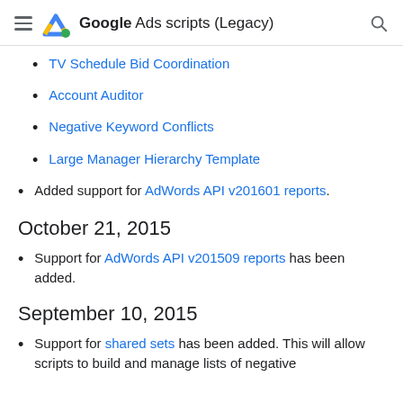Google Ads scripts (Legacy)
TV Schedule Bid Coordination
Account Auditor
Negative Keyword Conflicts
Large Manager Hierarchy Template
Added support for AdWords API v201601 reports.
October 21, 2015
Support for AdWords API v201509 reports has been added.
September 10, 2015
Support for shared sets has been added. This will allow scripts to build and manage lists of negative...